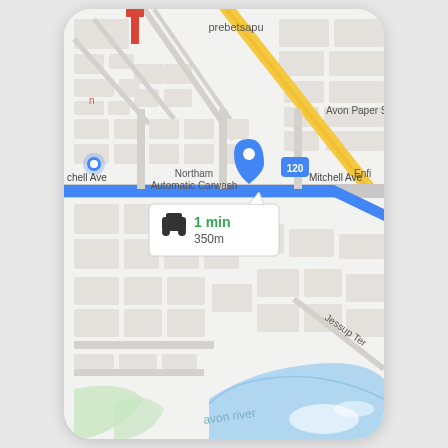[Figure (map): Google Maps screenshot showing Mitchell Ave in Northam, WA. A blue route line runs along Mitchell Ave from left to right with a yellow highway (Route 120/Enfield) crossing diagonally. A navigation info box shows '1 min / 350m' with a car icon. Map labels include: prebetsapu, Avon Paper S, Northam Automatic Carwash, Mitchell Ave, chell Ave, Enfi (Enfield), Jessup Ter, avon river. A location pin (red marker at top, blue dot, grey teardrop Northam Automatic Carwash pin) and a route 120 shield badge are visible. Light blue water body (Avon River) is in the lower right corner with a green park area.]